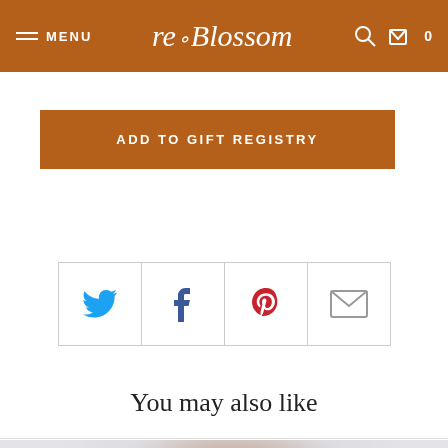MENU | reBlossom | 0
ADD TO GIFT REGISTRY
[Figure (other): Social sharing icons row: Twitter (blue bird), Facebook (blue f), Pinterest (red P), Email (envelope)]
You may also like
[Figure (photo): Blurred product photo showing a person with dark curly hair, smiling, on a light grey background]